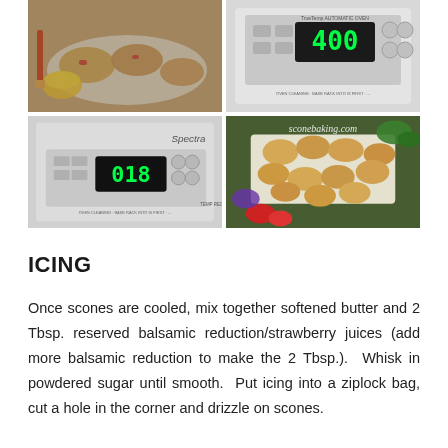[Figure (photo): 2x2 grid of four photos: top-left shows scones on a white plate with a bowl of yellow sauce and a red brush; top-right shows an oven display reading 400; bottom-left shows an oven display reading 018 with 'Spectra' branding; bottom-right shows baked scones on parchment paper with strawberries and a dipping sauce, with sconebaking.com watermark]
ICING
Once scones are cooled, mix together softened butter and 2 Tbsp. reserved balsamic reduction/strawberry juices (add more balsamic reduction to make the 2 Tbsp.).  Whisk in powdered sugar until smooth.  Put icing into a ziplock bag, cut a hole in the corner and drizzle on scones.